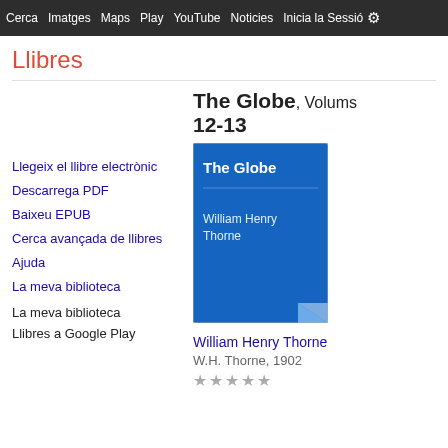Cerca  Imatges  Maps  Play  YouTube  Noticies  Inicia la Sessió  ⚙
Llibres
Llegeix el llibre electrònic
Descarrega PDF
Baixeu EPUB
Cerca avançada de llibres
Ajuda
La meva biblioteca
La meva biblioteca
Llibres a Google Play
The Globe, Volums 12-13
[Figure (illustration): Blue book cover for 'The Globe' by William Henry Thorne, with page curl at bottom right]
William Henry Thorne
W.H. Thorne, 1902
★★★★★